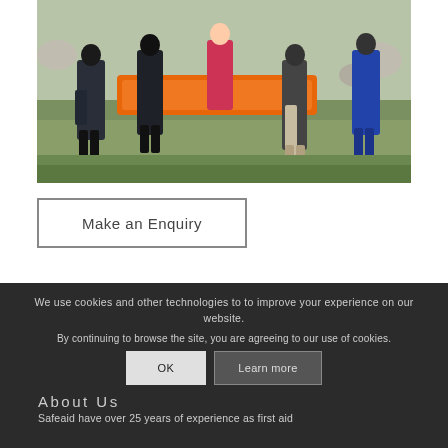[Figure (photo): Group of people carrying an orange stretcher across a grassy hillside in outdoor clothing]
Make an Enquiry
We use cookies and other technologies to to improve your experience on our website.
By continuing to browse the site, you are agreeing to our use of cookies.
OK
Learn more
About Us
Safeaid have over 25 years of experience as first aid